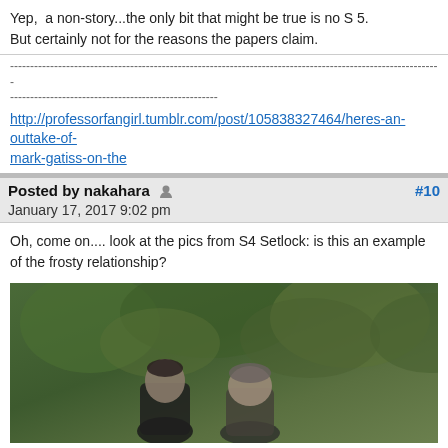Yep,  a non-story...the only bit that might be true is no S 5.
But certainly not for the reasons the papers claim.
------------------------------------------------------------------------------------------------------------
----------------------------------------------------
http://professorfangirl.tumblr.com/post/105838327464/heres-an-outtake-of-mark-gatiss-on-the
Posted by nakahara  #10
January 17, 2017 9:02 pm
Oh, come on.... look at the pics from S4 Setlock: is this an example of the frosty relationship?
[Figure (photo): Photograph showing two people outdoors with green foliage/trees in the background]